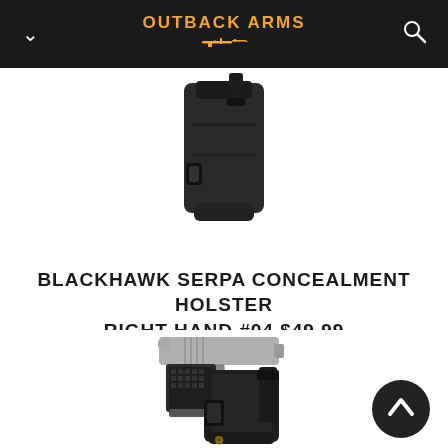OUTBACK ARMS
[Figure (photo): Black SERPA concealment holster, top portion, shown from side angle against white background]
BLACKHAWK SERPA CONCEALMENT HOLSTER RIGHT HAND #04 $49.99
[Figure (photo): Blackhawk SERPA Concealment Holster with a 1911-style pistol inserted, shown from side angle. Holster is black polymer with belt loop attachment.]
[Figure (other): Dark circular scroll-to-top button with upward arrow chevron icon]